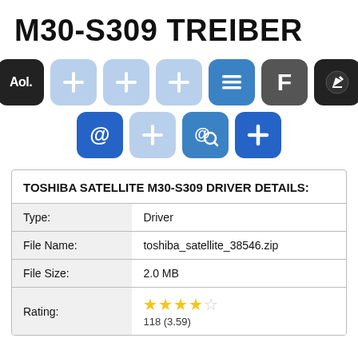M30-S309 TREIBER
[Figure (infographic): Row of social/app sharing icons: AOL, three light-blue plus buttons, a list/menu icon, F icon, edit icon; second row: blue @ icon, light-blue plus, blue @ with magnifier, blue plus icon]
| TOSHIBA SATELLITE M30-S309 DRIVER DETAILS: |  |
| Type: | Driver |
| File Name: | toshiba_satellite_38546.zip |
| File Size: | 2.0 MB |
| Rating: | ★★★★☆
118 (3.59) |